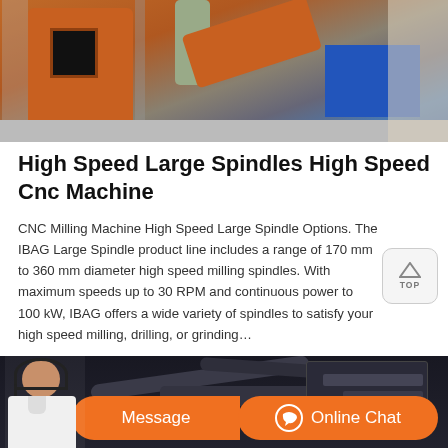[Figure (photo): Industrial milling/grinding machinery with orange machine body, pipes, chute, and blue container in a warehouse setting]
High Speed Large Spindles High Speed Cnc Machine
CNC Milling Machine High Speed Large Spindle Options. The IBAG Large Spindle product line includes a range of 170 mm to 360 mm diameter high speed milling spindles. With maximum speeds up to 30 RPM and continuous power to 100 kW, IBAG offers a wide variety of spindles to satisfy your high speed milling, drilling, or grinding…
[Figure (photo): Industrial machinery with dark pipes and equipment in a factory setting, with a customer service representative overlay and Message / Online Chat buttons]